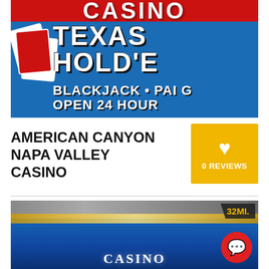[Figure (photo): Casino banner with blue and red background showing Texas Hold'em, Blackjack, Pai Gow, Open 24 Hours with playing cards graphic]
AMERICAN CANYON NAPA VALLEY CASINO
0 REVIEWS
[Figure (photo): Casino exterior building at night with blue illuminated sign reading CASINO, distance badge showing 32MI.]